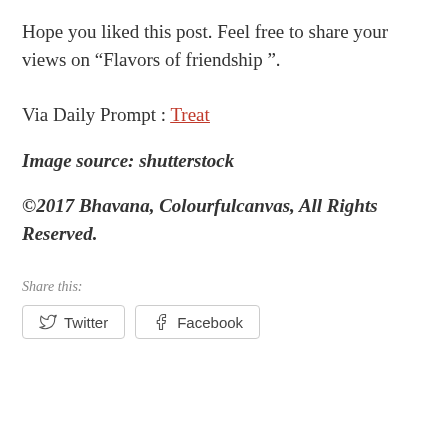Hope you liked this post. Feel free to share your views on “Flavors of friendship ”.
Via Daily Prompt : Treat
Image source: shutterstock
©2017 Bhavana, Colourfulcanvas, All Rights Reserved.
Share this:
Twitter  Facebook